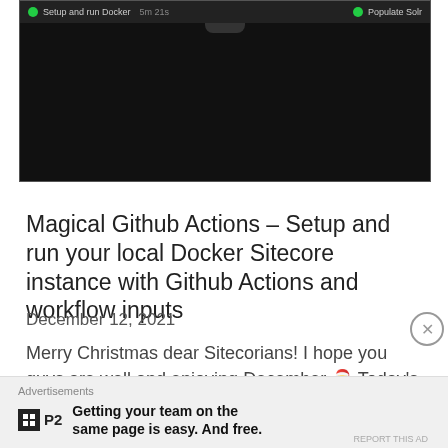[Figure (screenshot): Dark screenshot of a GitHub Actions workflow UI showing 'Setup and run Docker' and 'Populate Solr' steps with green checkmarks and timing information]
Magical Github Actions – Setup and run your local Docker Sitecore instance with Github Actions and workflow inputs
December 12, 2021
Merry Christmas dear Sitecorians! I hope you guys are well and enjoying December 🎅 Today's blog post will be about running your local Docker Sitecore instance with Github Actions using workflow inputs –
Advertisements
Getting your team on the same page is easy. And free.